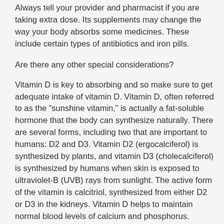Always tell your provider and pharmacist if you are taking extra dose. Its supplements may change the way your body absorbs some medicines. These include certain types of antibiotics and iron pills.
Are there any other special considerations?
Vitamin D is key to absorbing and so make sure to get adequate intake of vitamin D. Vitamin D, often referred to as the “sunshine vitamin,” is actually a fat-soluble hormone that the body can synthesize naturally. There are several forms, including two that are important to humans: D2 and D3. Vitamin D2 (ergocalciferol) is synthesized by plants, and vitamin D3 (cholecalciferol) is synthesized by humans when skin is exposed to ultraviolet-B (UVB) rays from sunlight. The active form of the vitamin is calcitriol, synthesized from either D2 or D3 in the kidneys. Vitamin D helps to maintain normal blood levels of calcium and phosphorus.
Vitamin K2 is a beneficial form of Vitamin K for bones. Unlike Vitamin K1 which is used to activate blood